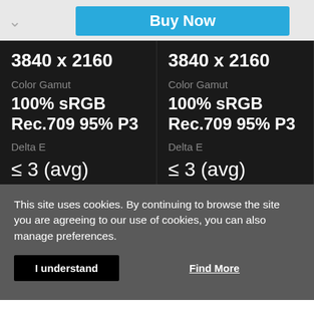Buy Now
3840 x 2160
Color Gamut
100% sRGB
Rec.709 95% P3
Delta E
≤ 3 (avg)
USB-C Port
3840 x 2160
Color Gamut
100% sRGB
Rec.709 95% P3
Delta E
≤ 3 (avg)
USB-C Port
This site uses cookies. By continuing to browse the site you are agreeing to our use of cookies, you can also manage preferences.
I understand
Find More